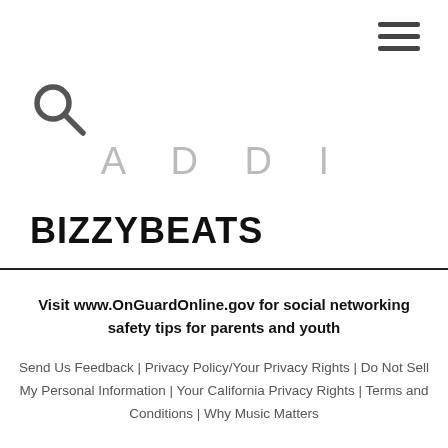[Figure (other): Hamburger menu icon (three horizontal lines) in top-right corner]
[Figure (other): Search icon (magnifying glass) in upper-left area]
ADDI
BIZZYBEATS
Visit www.OnGuardOnline.gov for social networking safety tips for parents and youth
Send Us Feedback | Privacy Policy/Your Privacy Rights | Do Not Sell My Personal Information | Your California Privacy Rights | Terms and Conditions | Why Music Matters